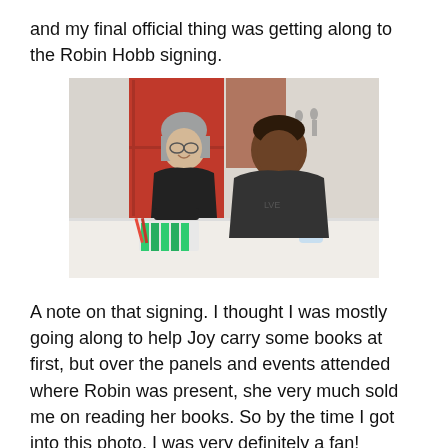and my final official thing was getting along to the Robin Hobb signing.
[Figure (photo): Two people sitting at a table at a book signing event. On the left is a woman with shoulder-length grey hair wearing a black t-shirt, smiling at the camera. On the right is a man wearing a dark t-shirt leaning toward the woman. On the table are green-striped booklets/materials and a water bottle. In the background is a red wall/door and people walking outside.]
A note on that signing. I thought I was mostly going along to help Joy carry some books at first, but over the panels and events attended where Robin was present, she very much sold me on reading her books. So by the time I got into this photo, I was very definitely a fan!